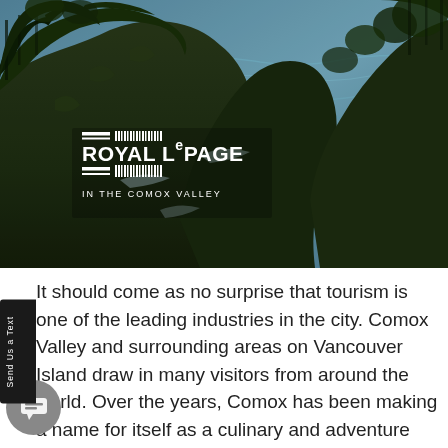[Figure (photo): Aerial coastal landscape photo showing rocky cliffs covered with dark green trees, with blue ocean waves in the background. Royal LePage In The Comox Valley logo overlaid in white on the lower left of the image.]
It should come as no surprise that tourism is one of the leading industries in the city. Comox Valley and surrounding areas on Vancouver Island draw in many visitors from around the world. Over the years, Comox has been making a name for itself as a culinary and adventure destination. This epic city provides visitors with a unique opportunity to experience some of the world’s most spectacular views. For instance, it isn’t every day that you can ski down the mountainside whilst gazing over the pacific ocean. Or, cross-country skiing through one of the world’s oldest forests. Comox also has some of the most